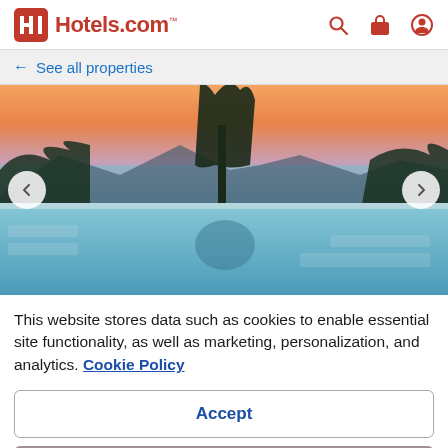Hotels.com
← See all properties
[Figure (photo): Infinity pool overlooking a bay with mountains and a sunset sky with orange and pink hues, trees silhouetted in the background]
This website stores data such as cookies to enable essential site functionality, as well as marketing, personalization, and analytics. Cookie Policy
Accept
Deny